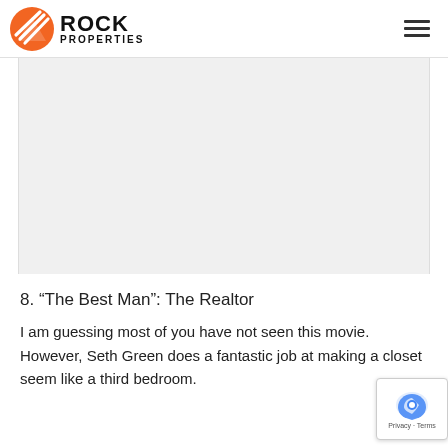ROCK PROPERTIES
[Figure (other): Large empty gray content area / embedded media placeholder]
8. “The Best Man”: The Realtor
I am guessing most of you have not seen this movie. However, Seth Green does a fantastic job at making a closet seem like a third bedroom.